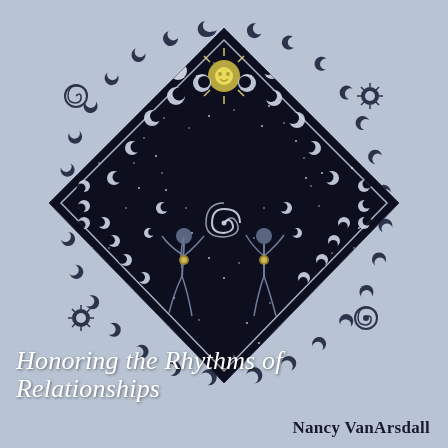[Figure (illustration): Book cover illustration: a large diamond/rhombus shape filled with a dark navy night sky scattered with white stars, featuring a radiant sun symbol at top center, flanked by crescent moon phases along the border of the diamond. Two stylized human figures dance with arms raised inside the diamond, and a spiral symbol floats above them. Around the outside of the diamond, a circular border of crescent moon phases arranged in a ring, with a spiral symbol at left and a starburst/sun symbol at upper-left, and similar symbols at lower corners. Background is a muted steel-blue/periwinkle grey.]
Honoring the Rhythms of Relationships
Nancy VanArsdall